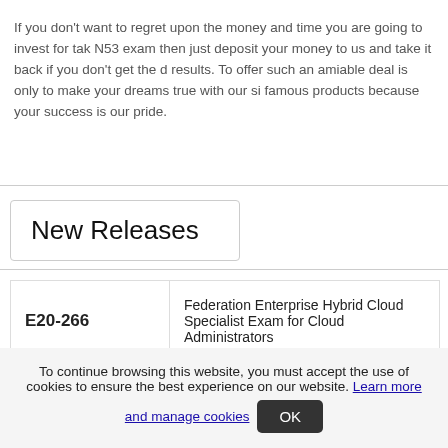If you don't want to regret upon the money and time you are going to invest for taking N53 exam then just deposit your money to us and take it back if you don't get the desired results. To offer such an amiable deal is only to make your dreams true with our sig famous products because your success is our pride.
New Releases
| Code | Description |
| --- | --- |
| E20-266 | Federation Enterprise Hybrid Cloud Specialist Exam for Cloud Administrators |
To continue browsing this website, you must accept the use of cookies to ensure the best experience on our website. Learn more and manage cookies
OK